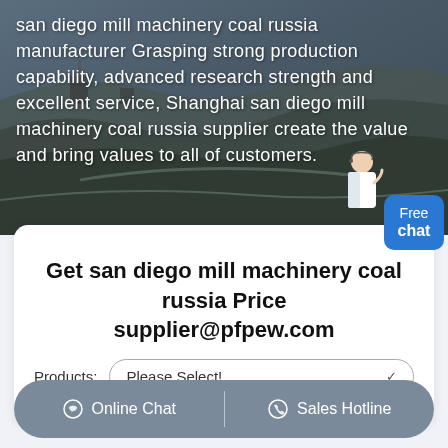[Figure (photo): Aerial/overhead photo of a coal mine or quarry with heavy machinery and earthworks, serving as a hero background image]
san diego mill machinery coal russia manufacturer Grasping strong production capability, advanced research strength and excellent service, Shanghai san diego mill machinery coal russia supplier create the value and bring values to all of customers.
Free chat
Get san diego mill machinery coal russia Price supplier@pfpew.com
Products: Please Select!
Online Chat | Sales Hotline